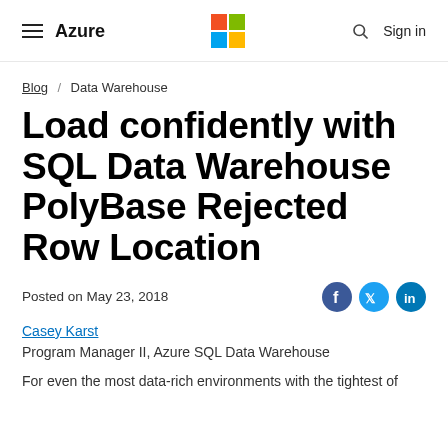Azure | Microsoft logo | Sign in
Blog / Data Warehouse
Load confidently with SQL Data Warehouse PolyBase Rejected Row Location
Posted on May 23, 2018
Casey Karst
Program Manager II, Azure SQL Data Warehouse
For even the most data-rich environments with the tightest of